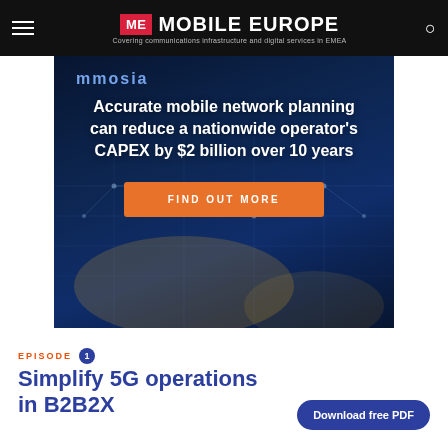ME MOBILE EUROPE — Covering communications infrastructure and digital services in EMEA
[Figure (infographic): Advertisement banner with dark blue network/city background. Partial text at top. Main headline: 'Accurate mobile network planning can reduce a nationwide operator's CAPEX by $2 billion over 10 years'. Orange 'FIND OUT MORE' button.]
EPISODE 1
Simplify 5G operations in B2B2X
Download free PDF